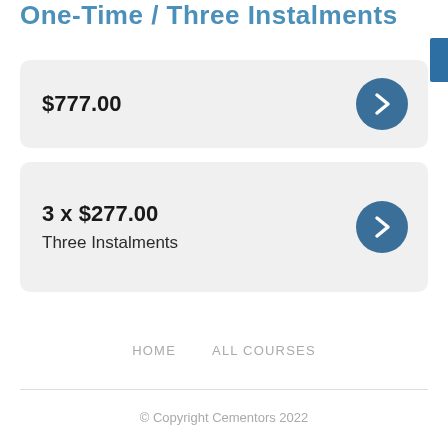One-Time / Three Instalments
$777.00
3 x $277.00
Three Instalments
HOME    ALL COURSES
© Copyright Cementors 2022